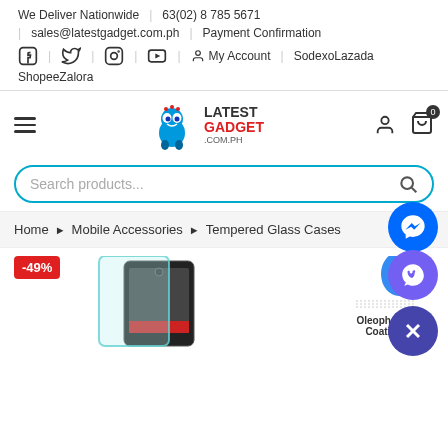We Deliver Nationwide | 63(02) 8 785 5671
sales@latestgadget.com.ph | Payment Confirmation
Facebook | Twitter | Instagram | YouTube | My Account | SodexoLazada
ShopeeZalora
[Figure (logo): Latest Gadget .com.ph logo with blue alien mascot character]
[Figure (screenshot): Search products input bar with teal/blue border and search icon]
Home > Mobile Accessories > Tempered Glass Cases
[Figure (photo): Product image showing tempered glass screen protector on a smartphone, with -49% red badge, and Oleophobic Coating badge on right]